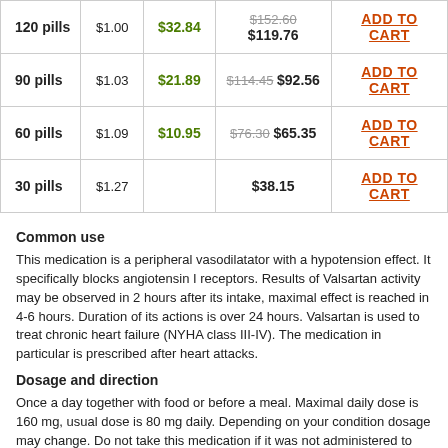|  | Per Pill | Savings | Total |  |
| --- | --- | --- | --- | --- |
| 120 pills | $1.00 | $32.84 | $152.60 $119.76 | ADD TO CART |
| 90 pills | $1.03 | $21.89 | $114.45 $92.56 | ADD TO CART |
| 60 pills | $1.09 | $10.95 | $76.30 $65.35 | ADD TO CART |
| 30 pills | $1.27 |  | $38.15 | ADD TO CART |
Common use
This medication is a peripheral vasodilatator with a hypotension effect. It specifically blocks angiotensin I receptors. Results of Valsartan activity may be observed in 2 hours after its intake, maximal effect is reached in 4-6 hours. Duration of its actions is over 24 hours. Valsartan is used to treat chronic heart failure (NYHA class III-IV). The medication in particular is prescribed after heart attacks.
Dosage and direction
Once a day together with food or before a meal. Maximal daily dose is 160 mg, usual dose is 80 mg daily. Depending on your condition dosage may change. Do not take this medication if it was not administered to you. Fol...